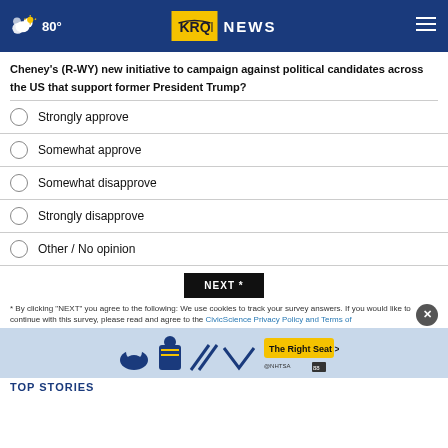80° KRQE NEWS
Cheney's (R-WY) new initiative to campaign against political candidates across the US that support former President Trump?
Strongly approve
Somewhat approve
Somewhat disapprove
Strongly disapprove
Other / No opinion
NEXT *
* By clicking "NEXT" you agree to the following: We use cookies to track your survey answers. If you would like to continue with this survey, please read and agree to the CivicScience Privacy Policy and Terms of
[Figure (other): NHTSA car seat safety advertisement banner - The Right Seat >]
TOP STORIES